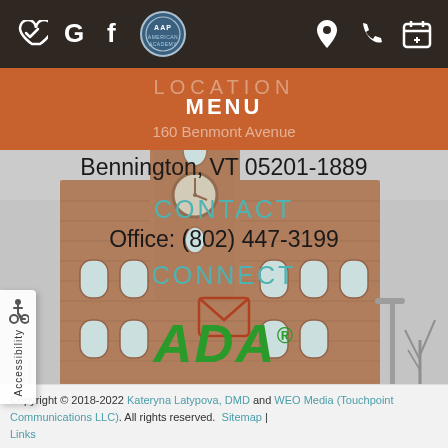[Figure (screenshot): Top dark navigation bar with social/utility icons: heart-check, Google G, Facebook f, AAP seal logo on left; location pin, phone, calendar icons on right. Background is dark brown/charcoal.]
[Figure (screenshot): Orange menu bar overlay showing 'MENU' in white bold text, with faded 'LOCATION' text and '160 Benmont Avenue' below in semi-transparent white.]
[Figure (photo): Background photo of a multi-story brick building with a clock tower, bare trees, and a street lamp. Overcast sky.]
Bennington, VT 05201-1889
CONTACT
Office: (802) 447-3199
CONNECT
[Figure (illustration): Envelope/mail icon outlined in brick red/orange color, centered on the page.]
[Figure (logo): ADA logo in bold green italic letters with registered trademark symbol.]
Copyright © 2018-2022 Kateryna Latypova, DMD and WEO Media (Touchpoint Communications LLC). All rights reserved.  Sitemap | Links